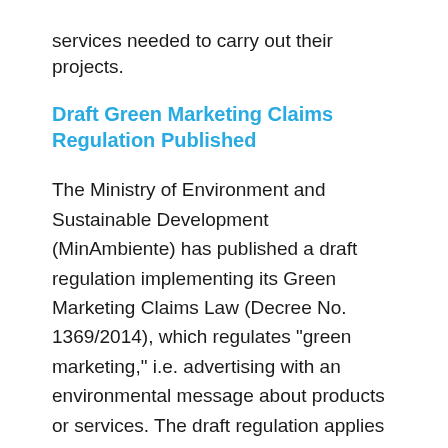services needed to carry out their projects.
Draft Green Marketing Claims Regulation Published
The Ministry of Environment and Sustainable Development (MinAmbiente) has published a draft regulation implementing its Green Marketing Claims Law (Decree No. 1369/2014), which regulates "green marketing," i.e. advertising with an environmental message about products or services. The draft regulation applies to importers, producers, distributers, and sellers of goods (i.e. products, product components or parts, and packaging) and services that are advertised through labels, promotional materials, or other